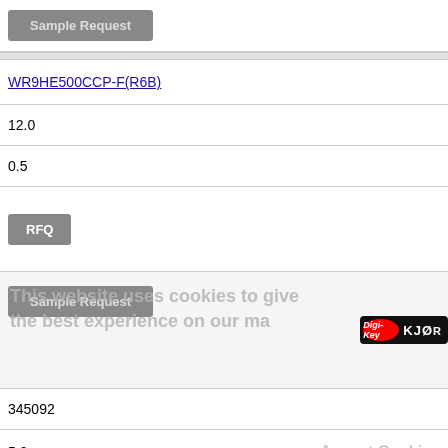[Figure (screenshot): Sample Request button (grey)]
WR9HE500CCP-F(R6B)
12.0
0.5
[Figure (screenshot): RFQ button (grey)]
[Figure (screenshot): Sample Request button with cookie/Digi-Key overlay showing 160 and KJOR text]
345092
5.0
1.2
[Figure (screenshot): RFQ button (grey)]